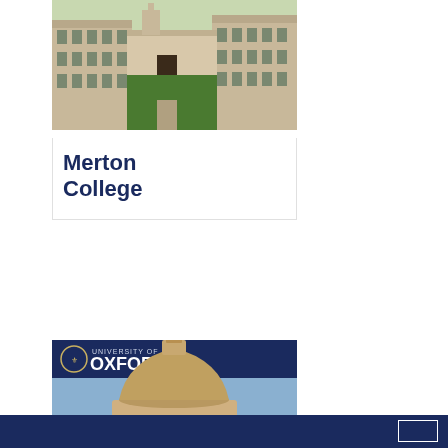[Figure (photo): Aerial view of Merton College Oxford, showing the quadrangle with green lawn surrounded by stone buildings]
Merton College
[Figure (photo): University of Oxford branded image showing the Radcliffe Camera dome building against a blue sky, with University of Oxford logo and text at top]
Human Rights and the Post-2015 Development Agenda: Challenges and